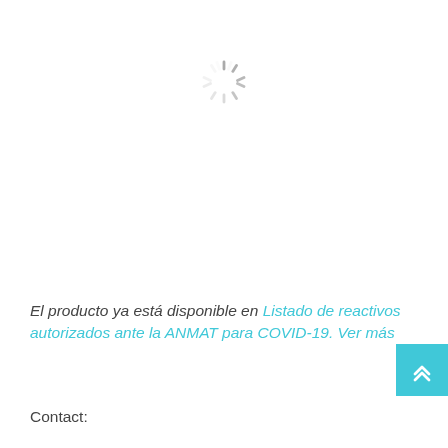[Figure (other): Loading spinner icon — a circular spinner with dashes radiating outward in gray tones, centered near the top of the page]
El producto ya está disponible en Listado de reactivos autorizados ante la ANMAT para COVID-19. Ver más
Contact: